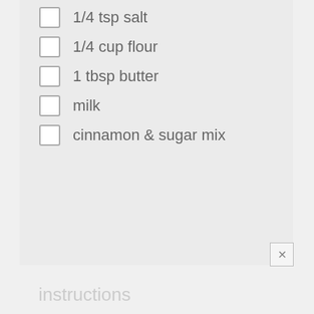1/4 tsp salt
1/4 cup flour
1 tbsp butter
milk
cinnamon & sugar mix
instructions